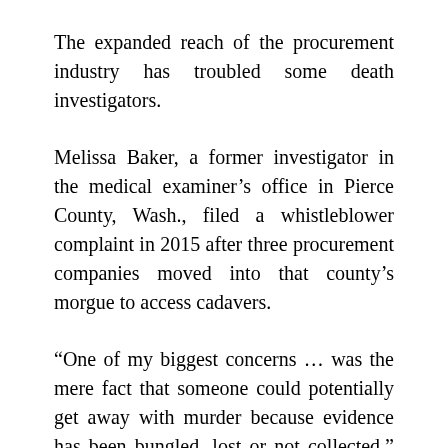The expanded reach of the procurement industry has troubled some death investigators.
Melissa Baker, a former investigator in the medical examiner’s office in Pierce County, Wash., filed a whistleblower complaint in 2015 after three procurement companies moved into that county’s morgue to access cadavers.
“One of my biggest concerns … was the mere fact that someone could potentially get away with murder because evidence has been bungled, lost or not collected,” she said.
An independent review of Baker’s